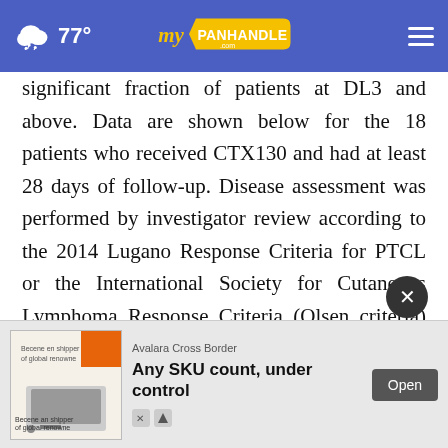myPanhandle.com — 77°
significant fraction of patients at DL3 and above. Data are shown below for the 18 patients who received CTX130 and had at least 28 days of follow-up. Disease assessment was performed by investigator review according to the 2014 Lugano Response Criteria for PTCL or the International Society for Cutaneous Lymphoma Response Criteria (Olsen criteria) for CTCL, as appropriate.
[Figure (screenshot): Advertisement banner: Avalara Cross Border — Any SKU count, under control. Open button on right.]